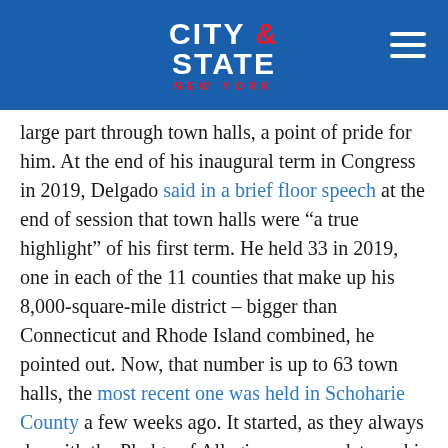CITY & STATE NEW YORK
large part through town halls, a point of pride for him. At the end of his inaugural term in Congress in 2019, Delgado said in a brief floor speech at the end of session that town halls were “a true highlight” of his first term. He held 33 in 2019, one in each of the 11 counties that make up his 8,000-square-mile district – bigger than Connecticut and Rhode Island combined, he pointed out. Now, that number is up to 63 town halls, the most recent one was held in Schoharie County a few weeks ago. It started, as they always do, with the Pledge of Allegiance, an update on his work and the ground rules – questions only, no monologues.
Delgado’s social media feeds show that town halls